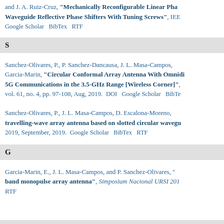and J. A. Ruiz-Cruz, "Mechanically Reconfigurable Linear Phase Waveguide Reflective Phase Shifters With Tuning Screws", IEE Google Scholar BibTex RTF
S
Sanchez-Olivares, P., P. Sanchez-Dancausa, J. L. Masa-Campos, Garcia-Marin, "Circular Conformal Array Antenna With Omnidi 5G Communications in the 3.5-GHz Range [Wireless Corner]", vol. 61, no. 4, pp. 97-108, Aug, 2019. DOI Google Scholar BibTe
Sanchez-Olivares, P., J. L. Masa-Campos, D. Escalona-Moreno, travelling-wave array antenna based on slotted circular wavegu 2019, September, 2019. Google Scholar BibTex RTF
G
Garcia-Marin, E., J. L. Masa-Campos, and P. Sanchez-Olivares, "band monopulse array antenna", Simposium Nacional URSI 201 RTF